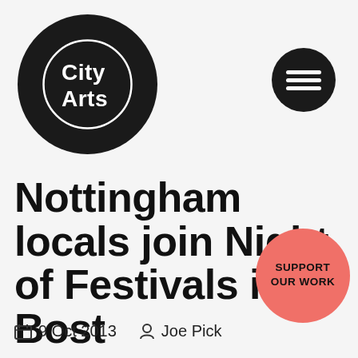[Figure (logo): City Arts logo — large black circle with white text 'City Arts' and a smaller white circle outline inside]
[Figure (other): Hamburger menu icon — black circle with three white horizontal lines]
Nottingham locals join Night of Festivals in Bost
[Figure (other): Salmon/coral circle button with text 'SUPPORT OUR WORK']
9 Oct 2013   Joe Pick